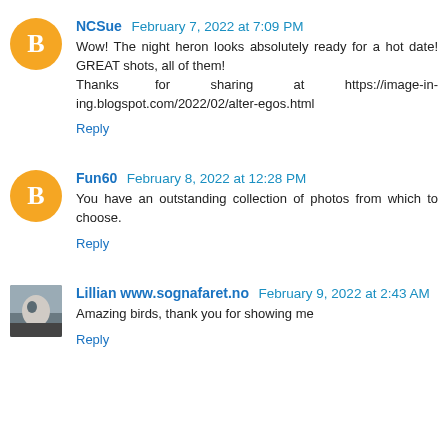NCSue  February 7, 2022 at 7:09 PM
Wow! The night heron looks absolutely ready for a hot date! GREAT shots, all of them!
Thanks for sharing at https://image-in-ing.blogspot.com/2022/02/alter-egos.html
Reply
Fun60  February 8, 2022 at 12:28 PM
You have an outstanding collection of photos from which to choose.
Reply
Lillian www.sognafaret.no  February 9, 2022 at 2:43 AM
Amazing birds, thank you for showing me
Reply